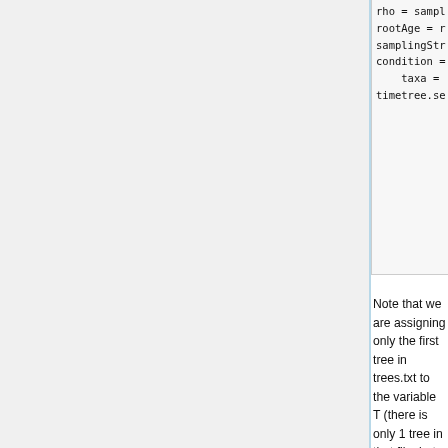[Figure (other): Code block (partial, cropped at top) showing RevBayes script lines: rho = sampling_, rootAge = root, samplingStrateg, condition = "n, taxa = taxa), timetree.setValue(T)]
Note that we are assigning only the first tree in trees.txt to the variable T (there is only 1 tree in that file, but RevBayes stores the trees it reads in a vector, so you have to add the [1] to select the first anyway).
The functions beginning with dn (e.g. dnExponential and dnBDP) are probability distributions. Thus, birth_rate is a parameter that is assigned an Exponential prior distribution having rate 0.01, and timetree is a parameter representing the tree and its branching times that is